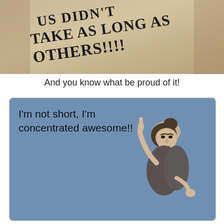[Figure (photo): Close-up photo of text on fabric/paper reading '...US DIDN'T TAKE AS LONG AS OTHERS!!!!' in bold serif font, slightly rotated, on aged tan/brown background]
And you know what be proud of it!
[Figure (illustration): Someecards style image with blue background. Text reads: I'm not short, I'm concentrated awesome!! Vintage illustration of a woman in Victorian clothing pointing upward with one finger in a lecturing pose.]